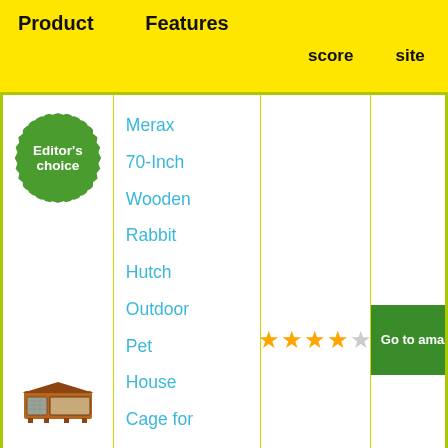| Product | Features | score | site |
| --- | --- | --- | --- |
| Editor's choice [image: rabbit hutch] | Merax 70-Inch Wooden Rabbit Hutch Outdoor Pet House Cage for Small Animals with 2 Run Play | ★★★★☆ | Go to amazon |